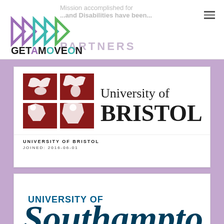Mission accomplished for ... GETAMOVEON PARTNERS
[Figure (logo): GetAMoveOn logo with colorful arrow shapes and bold text]
[Figure (logo): University of Bristol logo with red heraldic shield and text]
UNIVERSITY OF BRISTOL
JOINED: 2016-06-01
[Figure (logo): University of Southampton logo in dark teal]
UNIVERSITY OF SOUTHAMPTON
JOINED: 2016-06-01